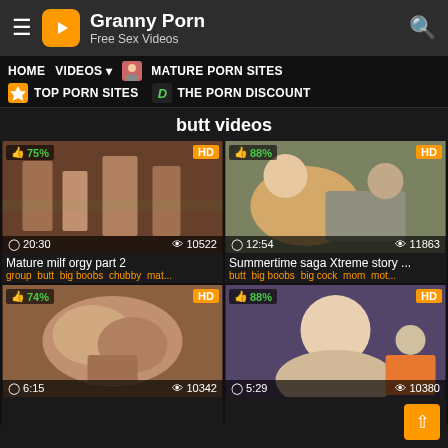Granny Porn – Free Sex Videos
HOME  VIDEOS  MATURE PORN SITES  TOP PORN SITES  THE PORN DISCOUNT
butt videos
[Figure (screenshot): Video thumbnail 1: Mature milf orgy part 2, 75% rating, HD, duration 20:30, views 10522]
Mature milf orgy part 2
group butt big boobs chubby mat...
[Figure (screenshot): Video thumbnail 2: Summertime saga Xtreme story ..., 88% rating, HD, duration 12:54, views 11863]
Summertime saga Xtreme story ...
butt big boobs big cock mom mot...
[Figure (screenshot): Video thumbnail 3: 74% rating, HD, duration 6:15, views 10342]
[Figure (screenshot): Video thumbnail 4: 88% rating, HD, duration 5:29, views 10380]